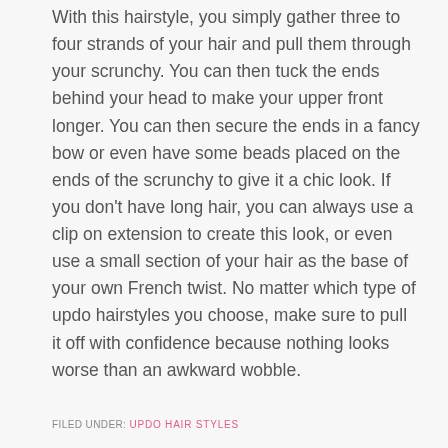With this hairstyle, you simply gather three to four strands of your hair and pull them through your scrunchy. You can then tuck the ends behind your head to make your upper front longer. You can then secure the ends in a fancy bow or even have some beads placed on the ends of the scrunchy to give it a chic look. If you don't have long hair, you can always use a clip on extension to create this look, or even use a small section of your hair as the base of your own French twist. No matter which type of updo hairstyles you choose, make sure to pull it off with confidence because nothing looks worse than an awkward wobble.
FILED UNDER: UPDO HAIR STYLES